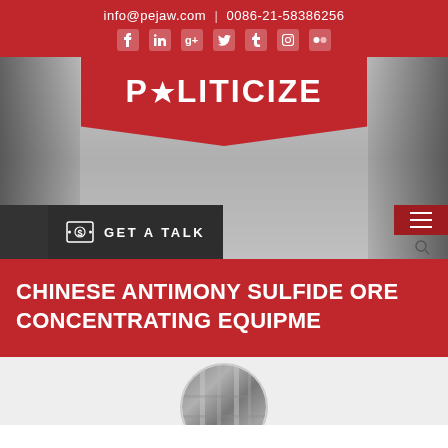info@pejaw.com  |  0086-21-58386256
POLITICIZE
GET A TALK
CHINESE ANTIMONY SULFIDE ORE CONCENTRATING EQUIPME
[Figure (photo): Circular cropped industrial facility/equipment photo at bottom of page]